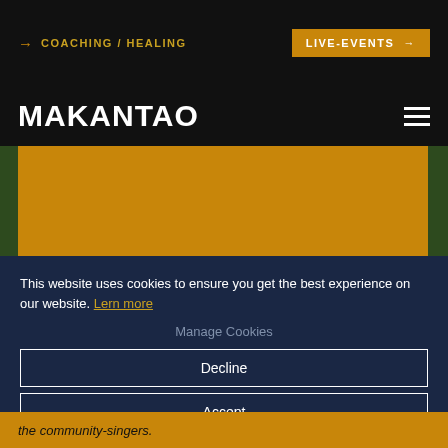→ COACHING / HEALING   LIVE-EVENTS →
MAKANTAO
CIRCLE
Mantra Sing-Circle
This website uses cookies to ensure you get the best experience on our website. Lern more
Manage Cookies
Decline
Accept
×
the community-singers.